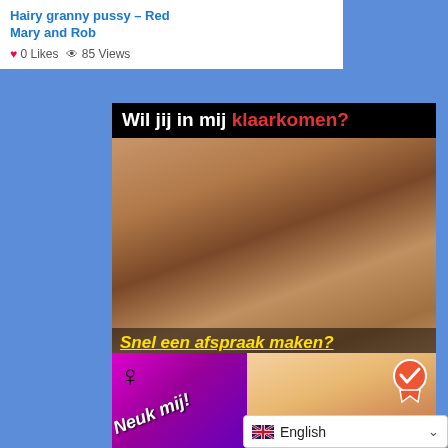Hairy granny pussy – Red Mary and Rob
0 Likes  85 Views
[Figure (photo): Adult advertisement banner with Dutch text 'Wil jij in mij klaarkomen?' and 'Snel een afspraak maken?']
[Figure (photo): Adult advertisement banner with Dutch text 'Neuk mij!' on purple diagonal banner with gender symbol and verification badge]
English